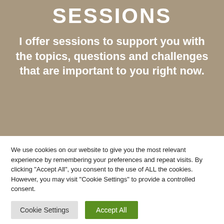SESSIONS
I offer sessions to support you with the topics, questions and challenges that are important to you right now.
We use cookies on our website to give you the most relevant experience by remembering your preferences and repeat visits. By clicking "Accept All", you consent to the use of ALL the cookies. However, you may visit "Cookie Settings" to provide a controlled consent.